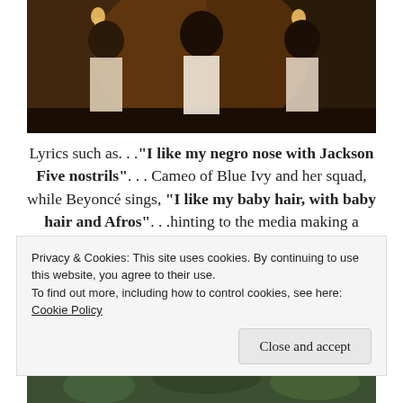[Figure (photo): Three young Black girls in white lace dresses dancing/posing in a warmly lit interior setting with wall sconces]
Lyrics such as. . .“I like my negro nose with Jackson Five nostrils”. . . Cameo of Blue Ivy and her squad, while Beyoncé sings, “I like my baby hair, with baby hair and Afros”. . .hinting to the media making a mockery of her husband’s features and Blue Ivy’s natural tresses. Natural Hair has been on the rise! Some think it’s a trend, I beg to differ. It’s a lifestyle! The cl...
[Figure (photo): Partial view of outdoor greenery scene at bottom of page]
Privacy & Cookies: This site uses cookies. By continuing to use this website, you agree to their use.
To find out more, including how to control cookies, see here: Cookie Policy
Close and accept